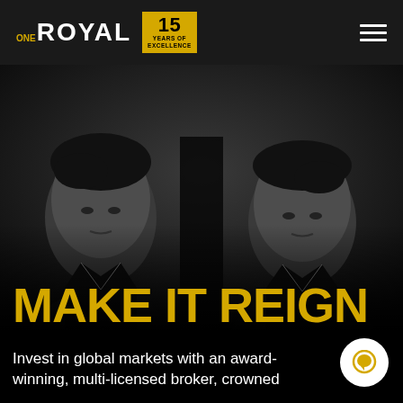ONE ROYAL | 15 YEARS OF EXCELLENCE
[Figure (photo): Black and white photo of two men in suits looking serious, facing away from each other, dramatic dark background]
MAKE IT REIGN
Invest in global markets with an award-winning, multi-licensed broker, crowned